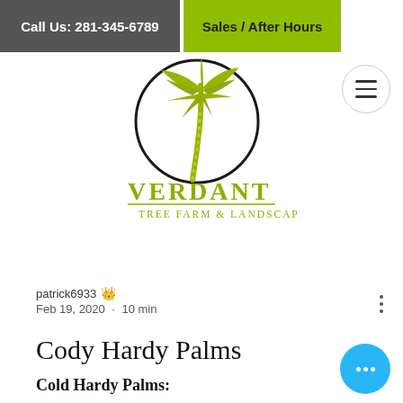Call Us: 281-345-6789
Sales / After Hours
[Figure (logo): Verdant Tree Farm & Landscape logo: palm tree inside a circle above the text VERDANT TREE FARM & LANDSCAPE in olive/yellow-green]
patrick6933 👑
Feb 19, 2020 · 10 min
Cody Hardy Palms
Cold Hardy Palms: